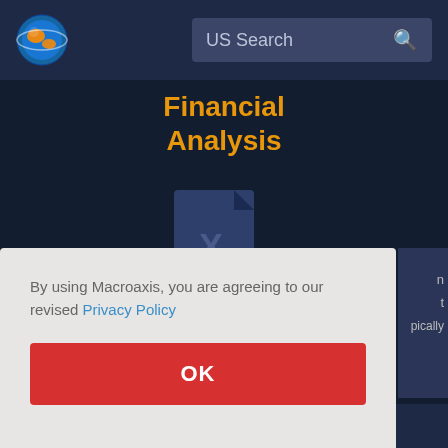[Figure (screenshot): Macroaxis website screenshot showing navigation bar with globe logo and US Search bar, Financial Analysis section with Excel file icon, and a privacy policy consent modal with OK button]
US Search
Financial Analysis
By using Macroaxis, you are agreeing to our revised Privacy Policy
OK
determine Chewy value by looking at such factors as